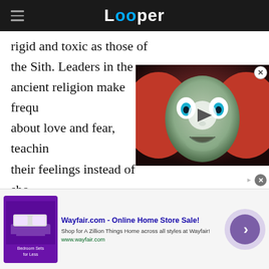Looper
rigid and toxic as those of the Sith. Leaders in the ancient religion make frequent references about love and fear, teaching their feelings instead of showing with their emotions safely.
[Figure (screenshot): Video overlay thumbnail showing a robot/android face with wide eyes and open mouth, with a play button in the center.]
[Figure (screenshot): Advertisement for Wayfair.com showing purple bedroom furniture promotion with a forward arrow button.]
Wayfair.com - Online Home Store Sale!
Shop for A Zillion Things Home across all styles at Wayfair!
www.wayfair.com